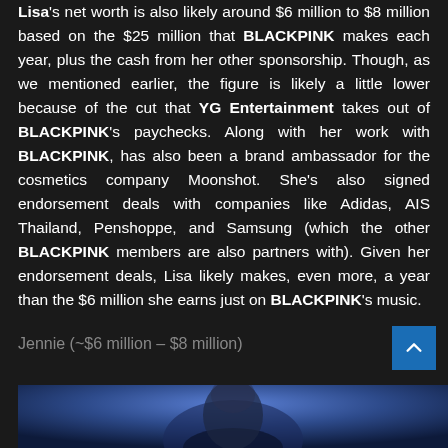Lisa's net worth is also likely around $6 million to $8 million based on the $25 million that BLACKPINK makes each year, plus the cash from her other sponsorship. Though, as we mentioned earlier, the figure is likely a little lower because of the cut that YG Entertainment takes out of BLACKPINK's paychecks. Along with her work with BLACKPINK, has also been a brand ambassador for the cosmetics company Moonshot. She's also signed endorsement deals with companies like Adidas, AIS Thailand, Penshoppe, and Samsung (which the other BLACKPINK members are also partners with). Given her endorsement deals, Lisa likely makes, even more, a year than the $6 million she earns just on BLACKPINK's music.
Jennie (~$6 million – $8 million)
[Figure (photo): Photo of Jennie from BLACKPINK, partially visible, dark blue/purple background]